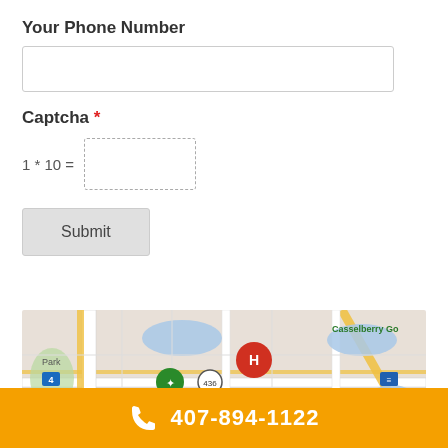Your Phone Number
Captcha *
1 * 10 =
Submit
[Figure (map): Google Map showing Altamonte Springs area with hotel marker (H), park marker, route 436, route 4, bus marker, Casselberry Golf Course label, and a shopping marker. Street labels include South St and Ballard St.]
407-894-1122